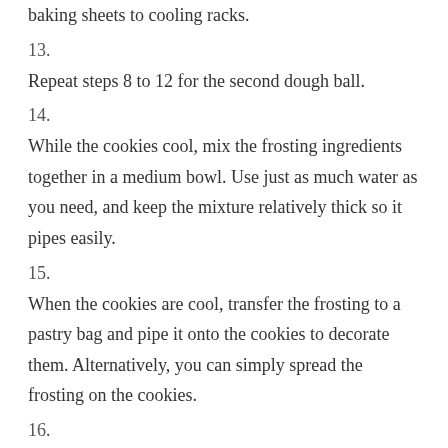baking sheets to cooling racks.
13.
Repeat steps 8 to 12 for the second dough ball.
14.
While the cookies cool, mix the frosting ingredients together in a medium bowl. Use just as much water as you need, and keep the mixture relatively thick so it pipes easily.
15.
When the cookies are cool, transfer the frosting to a pastry bag and pipe it onto the cookies to decorate them. Alternatively, you can simply spread the frosting on the cookies.
16.
Let the cookies sit for a few minutes for the frosting to set, and then serve.